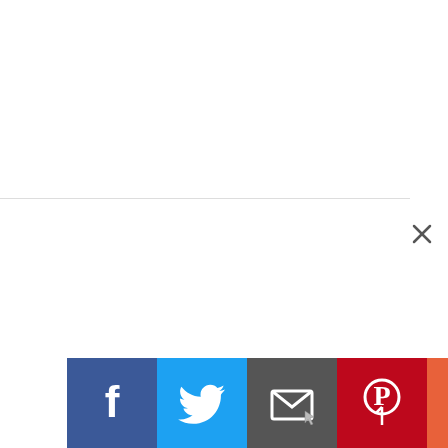[Figure (screenshot): A mostly blank white page/modal UI with a horizontal separator line near the top and an X close button in the upper right corner, and social sharing buttons (Facebook, Twitter, Email, Pinterest, More) at the bottom.]